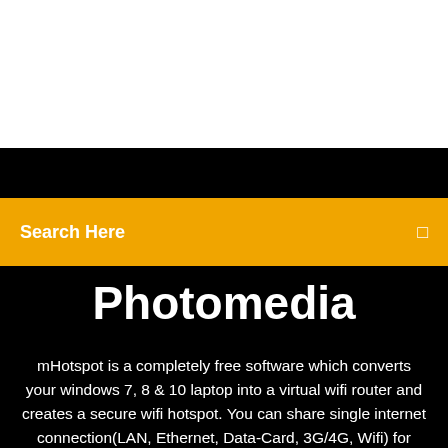Search Here
Photomedia
mHotspot is a completely free software which converts your windows 7, 8 & 10 laptop into a virtual wifi router and creates a secure wifi hotspot. You can share single internet connection(LAN, Ethernet, Data-Card, 3G/4G, Wifi) for multiple devices like laptops, smartphones, android phones, PDAs, Ipads etc. Play Multiplayer gaming using mHotspot. No router or external hardware is required apart